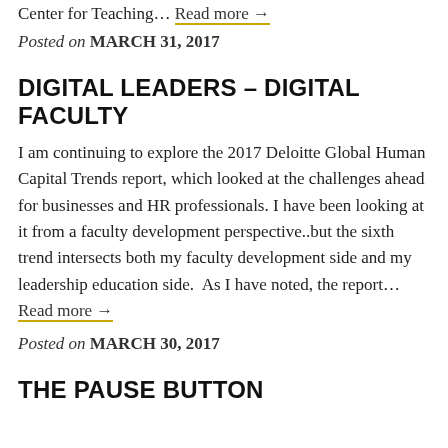Center for Teaching… Read more →
Posted on MARCH 31, 2017
DIGITAL LEADERS – DIGITAL FACULTY
I am continuing to explore the 2017 Deloitte Global Human Capital Trends report, which looked at the challenges ahead for businesses and HR professionals. I have been looking at it from a faculty development perspective..but the sixth trend intersects both my faculty development side and my leadership education side.  As I have noted, the report… Read more →
Posted on MARCH 30, 2017
THE PAUSE BUTTON